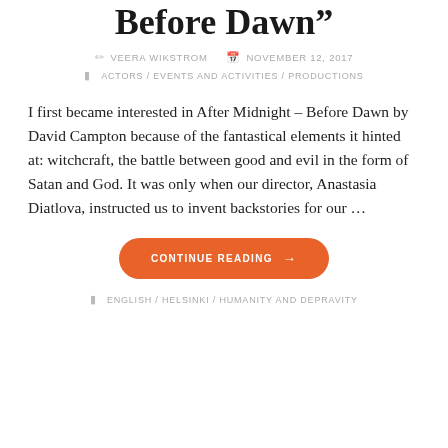"After Midnight Before Dawn"
VEERA WIKSTROM   NOVEMBER 12, 2017
ACTORS / EVENTS AND ACTIVITIES / PRODUCTIONS
I first became interested in After Midnight – Before Dawn by David Campton because of the fantastical elements it hinted at: witchcraft, the battle between good and evil in the form of Satan and God. It was only when our director, Anastasia Diatlova, instructed us to invent backstories for our …
CONTINUE READING →
ENGLISH / HELSINKI / HUMANITY AND DEPRAVITY